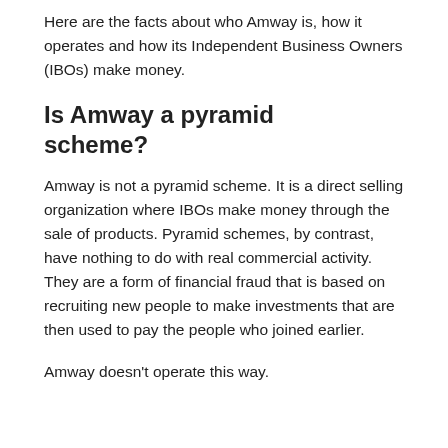Here are the facts about who Amway is, how it operates and how its Independent Business Owners (IBOs) make money.
Is Amway a pyramid scheme?
Amway is not a pyramid scheme. It is a direct selling organization where IBOs make money through the sale of products. Pyramid schemes, by contrast, have nothing to do with real commercial activity. They are a form of financial fraud that is based on recruiting new people to make investments that are then used to pay the people who joined earlier.
Amway doesn’t operate this way.